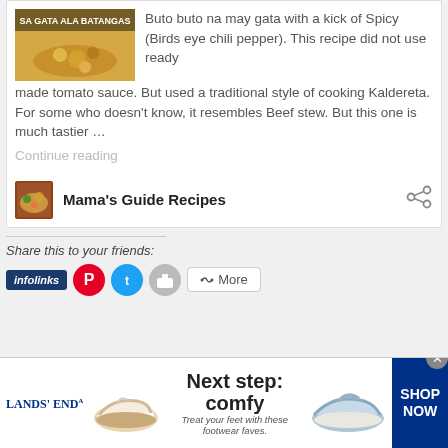[Figure (photo): Food photo with text overlay 'SA GATA ALA BATANGAS' on yellowish curry/stew dish]
Buto buto na may gata with a kick of Spicy (Birds eye chili pepper). This recipe did not use ready made tomato sauce. But used a traditional style of cooking Kaldereta. For some who doesn't know, it resembles Beef stew. But this one is much tastier …
Continue reading
[Figure (photo): Small avatar thumbnail for Mama's Guide Recipes page]
Mama's Guide Recipes
Share this to your friends:
[Figure (infographic): Social share buttons row: infolinks badge, Pinterest red circle, Twitter blue circle, grey circle, More button]
[Figure (infographic): Lands' End advertisement: Next step: comfy. Treat your feet with these footwear faves. SHOP NOW]